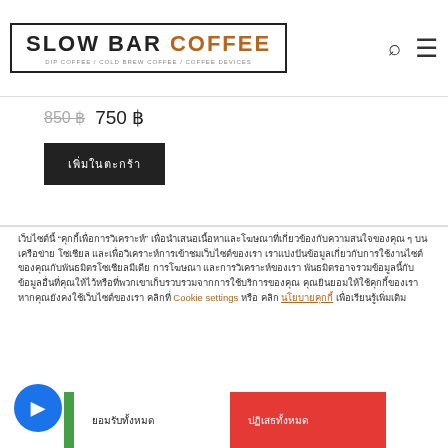[Figure (logo): Slow Bar Coffee logo with border, text SLOW BAR COFFEE, subtitle DIP COFFEE / COLD BREW COFFEE / COFFEE DEVICES]
850 ฿  750 ฿
เพิ่มในตะกร้า
เว็บไซต์นี้ "คุกกี้เพื่อการวิเคราะห์" เพื่อนำเสนอเนื้อหาและโฆษณาที่เกี่ยวข้องกับความสนใจของคุณ ๆ บนเครือข่าย โซเชียล และเพื่อวิเคราะห์การเข้าชมเว็บไซต์ของเรา เราแบ่งปันข้อมูลเกี่ยวกับการใช้งานไซต์ของคุณกับพันธมิตรโซเชียลมีเดีย โฆษณา และการวิเคราะห์ของเรา พันธมิตรอาจรวมข้อมูลนี้กับข้อมูลอื่นที่คุณให้ไว้หรือที่พวกเขาเก็บรวบรวมจากการใช้บริการของคุณ คุณยินยอมให้ใช้คุกกี้ของเราหากคุณยังคงใช้เว็บไซต์ของเรา คลิกที่ Cookie settings หรือ คลิก นโยบายคุกกี้ เพื่อเรียนรู้เพิ่มเติม
ยอมรับทั้งหมด
ปฏิเสธทั้งหมด